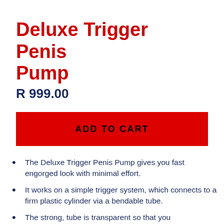Deluxe Trigger Penis Pump
R 999.00
ADD TO CART
The Deluxe Trigger Penis Pump gives you fast engorged look with minimal effort.
It works on a simple trigger system, which connects to a firm plastic cylinder via a bendable tube.
The strong, tube is transparent so that you